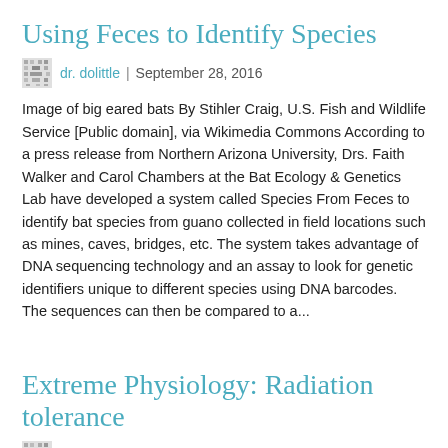Using Feces to Identify Species
dr. dolittle | September 28, 2016
Image of big eared bats By Stihler Craig, U.S. Fish and Wildlife Service [Public domain], via Wikimedia Commons According to a press release from Northern Arizona University, Drs. Faith Walker and Carol Chambers at the Bat Ecology & Genetics Lab have developed a system called Species From Feces to identify bat species from guano collected in field locations such as mines, caves, bridges, etc. The system takes advantage of DNA sequencing technology and an assay to look for genetic identifiers unique to different species using DNA barcodes. The sequences can then be compared to a...
Extreme Physiology: Radiation tolerance
dr. dolittle | September 21, 2016